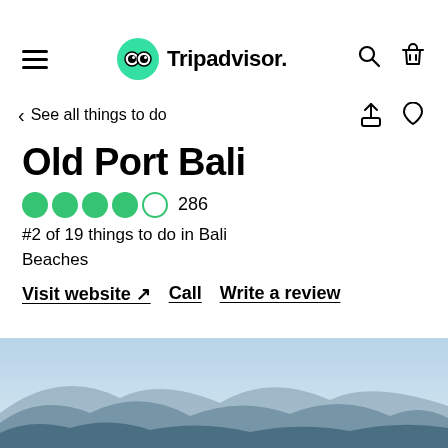Tripadvisor navigation bar
See all things to do
Old Port Bali
4 out of 5 stars  286
#2 of 19 things to do in Bali Beaches
Visit website ↗  Call  Write a review
[Figure (photo): Mountain coastal landscape with blue sky and hills in the background, visible at the bottom of the page]